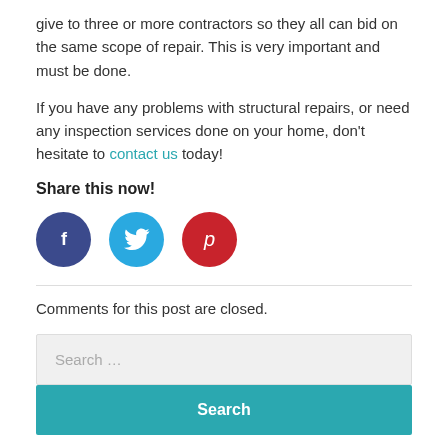give to three or more contractors so they all can bid on the same scope of repair. This is very important and must be done.
If you have any problems with structural repairs, or need any inspection services done on your home, don't hesitate to contact us today!
Share this now!
[Figure (infographic): Three social media share buttons: Facebook (dark blue circle with 'f'), Twitter (light blue circle with bird icon), Pinterest (red circle with 'p' icon)]
Comments for this post are closed.
Search ...
Search